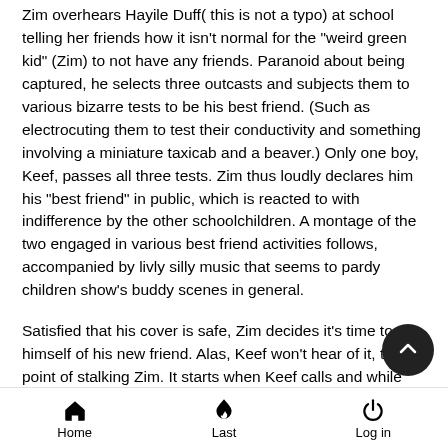Zim overhears Hayile Duff( this is not a typo) at school telling her friends how it isn't normal for the "weird green kid" (Zim) to not have any friends. Paranoid about being captured, he selects three outcasts and subjects them to various bizarre tests to be his best friend. (Such as electrocuting them to test their conductivity and something involving a miniature taxicab and a beaver.) Only one boy, Keef, passes all three tests. Zim thus loudly declares him his "best friend" in public, which is reacted to with indifference by the other schoolchildren. A montage of the two engaged in various best friend activities follows, accompanied by livly silly music that seems to pardy children show's buddy scenes in general.
Satisfied that his cover is safe, Zim decides it's time to rid himself of his new friend. Alas, Keef won't hear of it, to the point of stalking Zim. It starts when Keef calls and while the two are talking, another call comes in and it's Keef on the other line. A hanging up on him, Zim sees Keef riding his bicycle in front of
Home   Last   Log in